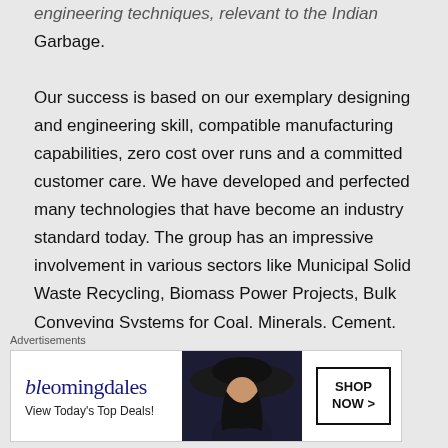engineering techniques, relevant to the Indian Garbage.

Our success is based on our exemplary designing and engineering skill, compatible manufacturing capabilities, zero cost over runs and a committed customer care. We have developed and perfected many technologies that have become an industry standard today. The group has an impressive involvement in various sectors like Municipal Solid Waste Recycling, Biomass Power Projects, Bulk Conveying Systems for Coal, Minerals, Cement,
Advertisements
[Figure (other): Bloomingdales advertisement banner with logo, tagline 'View Today's Top Deals!', a woman in a wide-brim hat, and a 'SHOP NOW >' call-to-action button.]